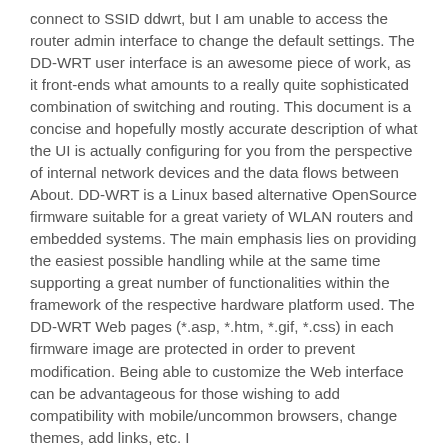connect to SSID ddwrt, but I am unable to access the router admin interface to change the default settings. The DD-WRT user interface is an awesome piece of work, as it front-ends what amounts to a really quite sophisticated combination of switching and routing. This document is a concise and hopefully mostly accurate description of what the UI is actually configuring for you from the perspective of internal network devices and the data flows between About. DD-WRT is a Linux based alternative OpenSource firmware suitable for a great variety of WLAN routers and embedded systems. The main emphasis lies on providing the easiest possible handling while at the same time supporting a great number of functionalities within the framework of the respective hardware platform used. The DD-WRT Web pages (*.asp, *.htm, *.gif, *.css) in each firmware image are protected in order to prevent modification. Being able to customize the Web interface can be advantageous for those wishing to add compatibility with mobile/uncommon browsers, change themes, add links, etc. I